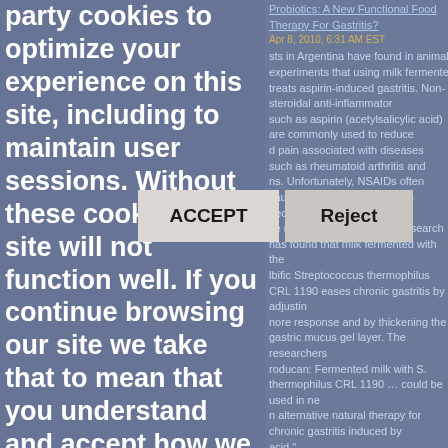party cookies to optimize your experience on this site, including to maintain user sessions. Without these cookies our site will not function well. If you continue browsing our site we take that to mean that you understand and accept how we use the cookies. If you wish to decline our cookies we will redirect you to Google.
Probiotics: A New Functional Food Therapy For Gastritis?
Apr 8, 2010, 6:31 AM EST
sts in Argentina have found in animal experiments that using milk fermented treats aspirin-induced gastritis. Non-steroidal anti-inflammatory such as aspirin (acetylsalicylic acid) are commonly used to reduce d pain associated with diseases such as rheumatoid arthritis and ns. Unfortunately, NSAIDs often cause gastritis in the stomach because se mucosal cells. The new research has found that milk fermented with the lbific Streptococcus thermophilus CRL 1190 eases chronic gastritis by adjustin nore response and by thickening the gastric mucus gel layer. The researchers roducan: Fermented milk with S. thermophilus CRL 1190 ... could be used in ne n alternative natural therapy for chronic gastritis induced by acid."
driguez, Marta Medici, Fernanda Mozzi and Graciela Font de Valdez, "Therapeutic effe ermophilus CRL 1190-fermented milk on chronic gastritis", World Journal of rology, April 07, 2010. © Baishideng
King Companies Look To Enhance Product Lines With Fiber, Ancient Grains
Jan 15, 2010, 11:35 PM EST
king companies have met increased consumer demand for nutritious baked go dsting fiber content, cutting calories, and replacing unhealthy fats with healthier omega-3 makers are also moving in other apparently healthy directions, ber, as well as nontraditional and "ancient" grains in products s who want to (or have to) avoid wheat and gluten, or who si ment with something new, different and healthy. Two fibers that are
ACCEPT
Reject